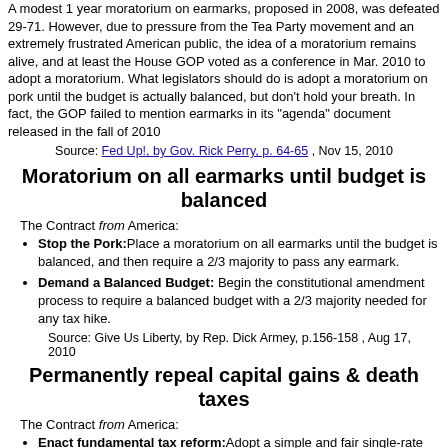A modest 1 year moratorium on earmarks, proposed in 2008, was defeated 29-71. However, due to pressure from the Tea Party movement and an extremely frustrated American public, the idea of a moratorium remains alive, and at least the House GOP voted as a conference in Mar. 2010 to adopt a moratorium. What legislators should do is adopt a moratorium on pork until the budget is actually balanced, but don't hold your breath. In fact, the GOP failed to mention earmarks in its "agenda" document released in the fall of 2010
Source: Fed Up!, by Gov. Rick Perry, p. 64-65 , Nov 15, 2010
Moratorium on all earmarks until budget is balanced
The Contract from America:
Stop the Pork: Place a moratorium on all earmarks until the budget is balanced, and then require a 2/3 majority to pass any earmark.
Demand a Balanced Budget: Begin the constitutional amendment process to require a balanced budget with a 2/3 majority needed for any tax hike.
Source: Give Us Liberty, by Rep. Dick Armey, p.156-158 , Aug 17, 2010
Permanently repeal capital gains & death taxes
The Contract from America:
Enact fundamental tax reform: Adopt a simple and fair single-rate tax system by scrapping the internal revenue code and replacing it with one that is no longer than 4,543 words--the length of the original Constitution.
Stop the Tax Hikes: Permanently repeal all tax hikes, including those to the income, capital gains, and death taxes, currently scheduled to begin in 2011.
Source: Give Us Liberty, by Rep. Dick Armey, p.157-158 , Aug 17, 2010